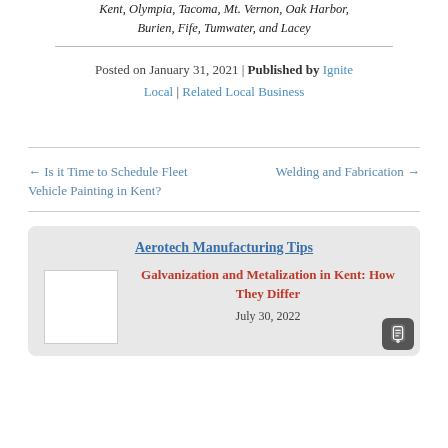Kent, Olympia, Tacoma, Mt. Vernon, Oak Harbor, Burien, Fife, Tumwater, and Lacey
Posted on January 31, 2021 | Published by Ignite Local | Related Local Business
← Is it Time to Schedule Fleet Vehicle Painting in Kent?
Welding and Fabrication →
Aerotech Manufacturing Tips
Galvanization and Metalization in Kent: How They Differ
July 30, 2022